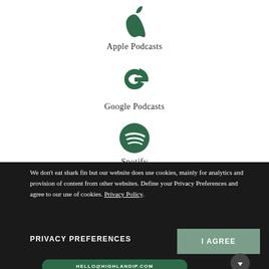[Figure (logo): Apple logo in dark green]
Apple Podcasts
[Figure (logo): Google G logo in dark green]
Google Podcasts
[Figure (logo): Spotify logo in dark green circle]
Spotify
We don't eat shark fin but our website does use cookies, mainly for analytics and provision of content from other websites. Define your Privacy Preferences and agree to our use of cookies. Privacy Policy
PRIVACY PREFERENCES
I AGREE